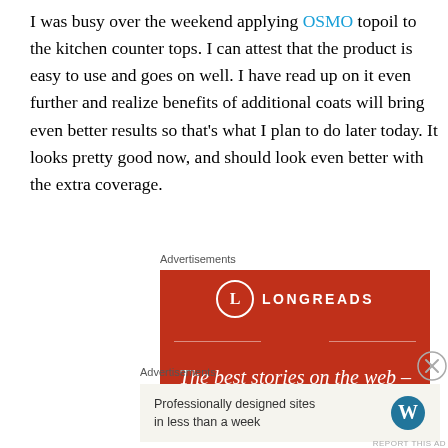I was busy over the weekend applying OSMO topoil to the kitchen counter tops. I can attest that the product is easy to use and goes on well. I have read up on it even further and realize benefits of additional coats will bring even better results so that's what I plan to do later today. It looks pretty good now, and should look even better with the extra coverage.
Advertisements
[Figure (other): LONGREADS advertisement banner with red background showing logo and tagline 'The best stories on the web – ours, and everyone else's']
Advertisements
[Figure (other): WordPress advertisement with light background showing text 'Professionally designed sites in less than a week' and WordPress logo]